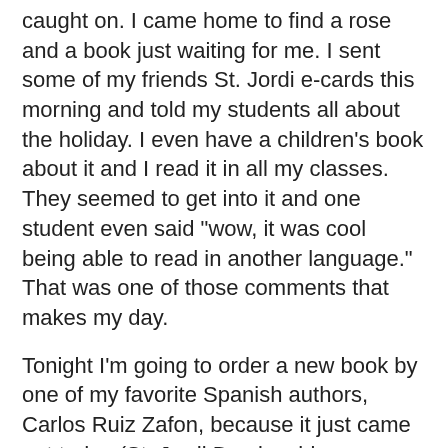caught on. I came home to find a rose and a book just waiting for me. I sent some of my friends St. Jordi e-cards this morning and told my students all about the holiday. I even have a children's book about it and I read it in all my classes. They seemed to get into it and one student even said "wow, it was cool being able to read in another language." That was one of those comments that makes my day.
Tonight I'm going to order a new book by one of my favorite Spanish authors, Carlos Ruiz Zafon, because it just came out today (St. Jordi Day is a big new-book release day) though I don't know how long it will take to get it over here. It is a sequel to a book I read on our honeymoon, The Shadow of the Wind, one of the first books I had read just for pleasure in Spanish after years of required reading in my graduate program. I hope the sequel is equally as enjoyable.
To top off my wonderful day, I came home to find the newest edition of Cooking Light magazine in the mail and was pleasantly surprised to find a whole spread on Catalan cooking! My sister-in-law got me a Catalan cookbook for Christmas and I really like the cuisine so we've been cooking